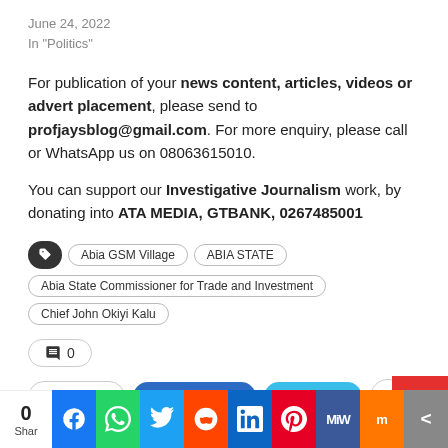June 24, 2022
In "Politics"
For publication of your news content, articles, videos or advert placement, please send to profjaysblog@gmail.com. For more enquiry, please call or WhatsApp us on 08063615010.
You can support our Investigative Journalism work, by donating into ATA MEDIA, GTBANK, 0267485001
Tags: Abia GSM Village | ABIA STATE | Abia State Commissioner for Trade and Investment | Chief John Okiyi Kalu
Comments: 0
Share | Facebook | Twitter | +
0 Shar [social icons: Facebook, WhatsApp, Twitter, Reddit, LinkedIn, Pinterest, MeWe, Mix, More]